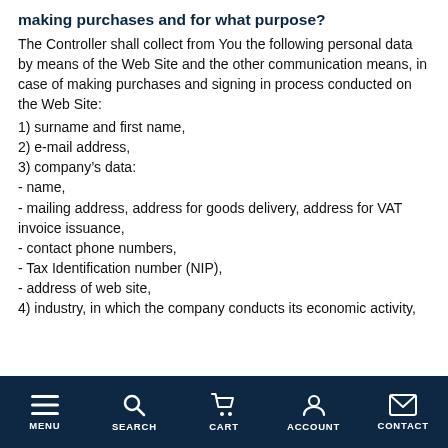making purchases and for what purpose?
The Controller shall collect from You the following personal data by means of the Web Site and the other communication means, in case of making purchases and signing in process conducted on the Web Site:
1) surname and first name,
2) e-mail address,
3) company's data:
- name,
- mailing address, address for goods delivery, address for VAT invoice issuance,
- contact phone numbers,
- Tax Identification number (NIP),
- address of web site,
4) industry, in which the company conducts its economic activity,
MENU  SEARCH  CART  ACCOUNT  CONTACT